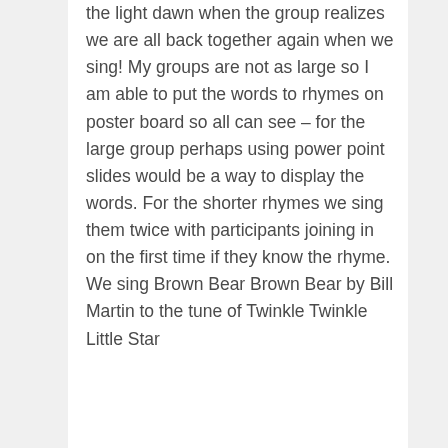the light dawn when the group realizes we are all back together again when we sing! My groups are not as large so I am able to put the words to rhymes on poster board so all can see – for the large group perhaps using power point slides would be a way to display the words. For the shorter rhymes we sing them twice with participants joining in on the first time if they know the rhyme. We sing Brown Bear Brown Bear by Bill Martin to the tune of Twinkle Twinkle Little Star